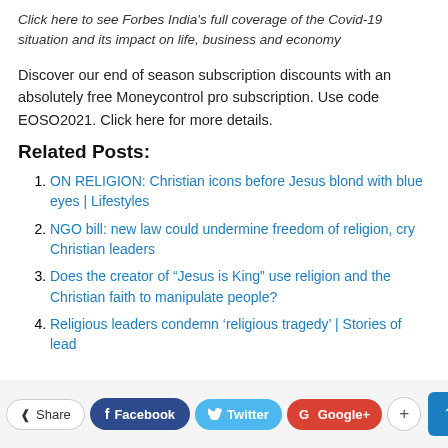Click here to see Forbes India's full coverage of the Covid-19 situation and its impact on life, business and economy
Discover our end of season subscription discounts with an absolutely free Moneycontrol pro subscription. Use code EOSO2021. Click here for more details.
Related Posts:
ON RELIGION: Christian icons before Jesus blond with blue eyes | Lifestyles
NGO bill: new law could undermine freedom of religion, cry Christian leaders
Does the creator of “Jesus is King” use religion and the Christian faith to manipulate people?
Religious leaders condemn ‘religious tragedy’ | Stories of lead
Share  Facebook  Twitter  Google+  +  ↑